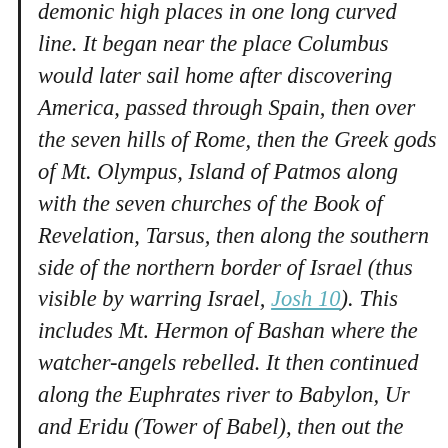demonic high places in one long curved line. It began near the place Columbus would later sail home after discovering America, passed through Spain, then over the seven hills of Rome, then the Greek gods of Mt. Olympus, Island of Patmos along with the seven churches of the Book of Revelation, Tarsus, then along the southern side of the northern border of Israel (thus visible by warring Israel, Josh 10). This includes Mt. Hermon of Bashan where the watcher-angels rebelled. It then continued along the Euphrates river to Babylon, Ur and Eridu (Tower of Babel), then out the